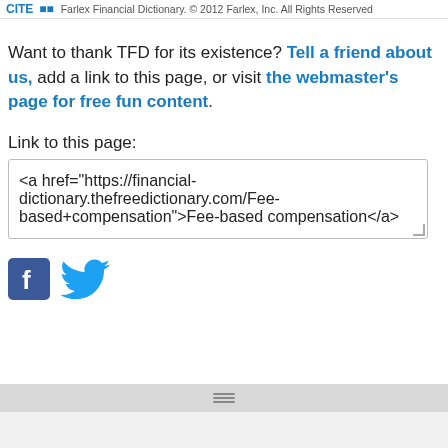Farlex Financial Dictionary. © 2012 Farlex, Inc. All Rights Reserved
Want to thank TFD for its existence? Tell a friend about us, add a link to this page, or visit the webmaster's page for free fun content.
Link to this page:
<a href="https://financial-dictionary.thefreedictionary.com/Fee-based+compensation">Fee-based compensation</a>
[Figure (logo): Facebook logo icon (blue square with white f) and Twitter bird logo icon (light blue bird)]